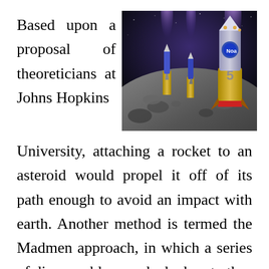Based upon a proposal of theoreticians at Johns Hopkins University, attaching a rocket to an asteroid would propel it off of its path enough to avoid an impact with earth. Another method is termed the Madmen approach, in which a series of disassembles are docked on to the
[Figure (photo): Artistic rendering of rockets attached to an asteroid in space, with a large cylindrical rocket labeled '5' and the NOAA logo visible on the surface of a rocky asteroid against a dark space background with rocket exhaust flames.]